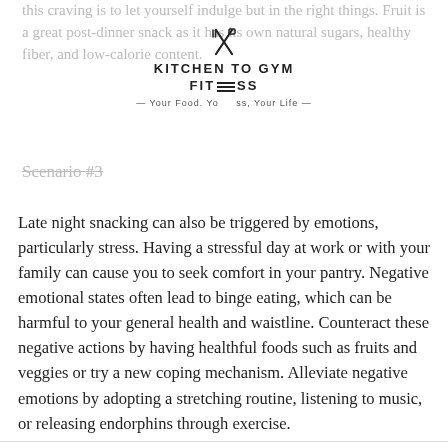this craving is to let yourself indulge but in the right things. Fruit is a great post-dinner snack as it has its own natural sugars, healthy fiber, and low-calorie content.
[Figure (logo): Kitchen to Gym Fitness logo with crossed fork and knife icon above text reading KITCHEN TO GYM FITNESS — Your Food. Your Fitness, Your Life —]
Scenario #3
Late night snacking can also be triggered by emotions, particularly stress. Having a stressful day at work or with your family can cause you to seek comfort in your pantry. Negative emotional states often lead to binge eating, which can be harmful to your general health and waistline. Counteract these negative actions by having healthful foods such as fruits and veggies or try a new coping mechanism. Alleviate negative emotions by adopting a stretching routine, listening to music, or releasing endorphins through exercise.